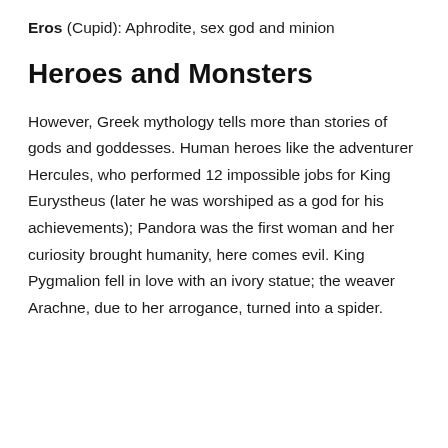Eros (Cupid): Aphrodite, sex god and minion
Heroes and Monsters
However, Greek mythology tells more than stories of gods and goddesses. Human heroes like the adventurer Hercules, who performed 12 impossible jobs for King Eurystheus (later he was worshiped as a god for his achievements); Pandora was the first woman and her curiosity brought humanity, here comes evil. King Pygmalion fell in love with an ivory statue; the weaver Arachne, due to her arrogance, turned into a spider.